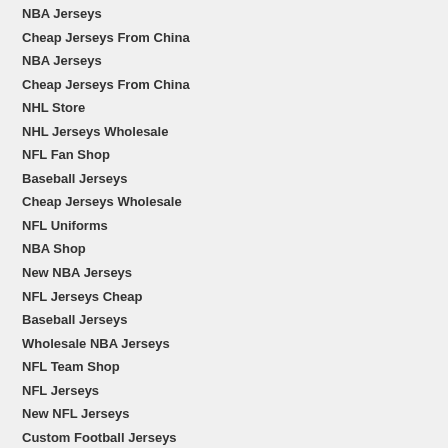NBA Jerseys
Cheap Jerseys From China
NBA Jerseys
Cheap Jerseys From China
NHL Store
NHL Jerseys Wholesale
NFL Fan Shop
Baseball Jerseys
Cheap Jerseys Wholesale
NFL Uniforms
NBA Shop
New NBA Jerseys
NFL Jerseys Cheap
Baseball Jerseys
Wholesale NBA Jerseys
NFL Team Shop
NFL Jerseys
New NFL Jerseys
Custom Football Jerseys
Cheap NFL Jerseys
Cheap NFL Jerseys
Cheap NFL Jerseys From China